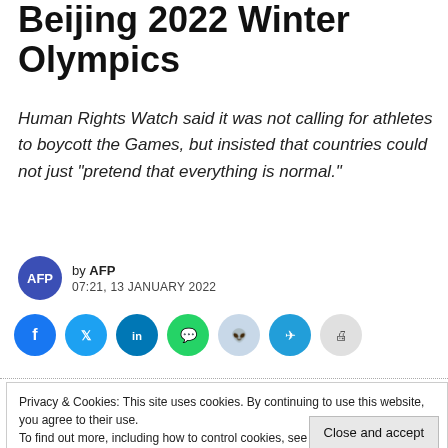Beijing 2022 Winter Olympics
Human Rights Watch said it was not calling for athletes to boycott the Games, but insisted that countries could not just “pretend that everything is normal.”
by AFP
07:21, 13 JANUARY 2022
[Figure (other): Social share buttons: Facebook, Twitter, LinkedIn, WhatsApp, Reddit, Telegram, Print]
Privacy & Cookies: This site uses cookies. By continuing to use this website, you agree to their use.
To find out more, including how to control cookies, see here: Cookie Policy
Close and accept